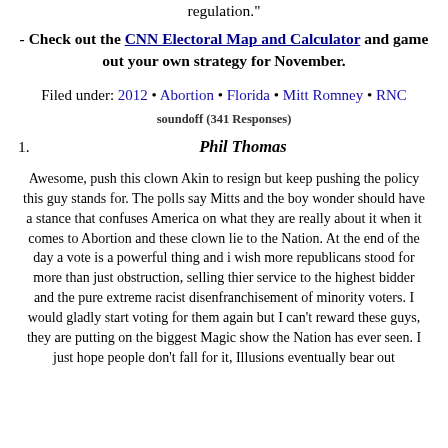regulation."
- Check out the CNN Electoral Map and Calculator and game out your own strategy for November.
Filed under: 2012 • Abortion • Florida • Mitt Romney • RNC
soundoff (341 Responses)
1. Phil Thomas
Awesome, push this clown Akin to resign but keep pushing the policy this guy stands for. The polls say Mitts and the boy wonder should have a stance that confuses America on what they are really about it when it comes to Abortion and these clown lie to the Nation. At the end of the day a vote is a powerful thing and i wish more republicans stood for more than just obstruction, selling thier service to the highest bidder and the pure extreme racist disenfranchisement of minority voters. I would gladly start voting for them again but I can't reward these guys, they are putting on the biggest Magic show the Nation has ever seen. I just hope people don't fall for it, Illusions eventually bear out